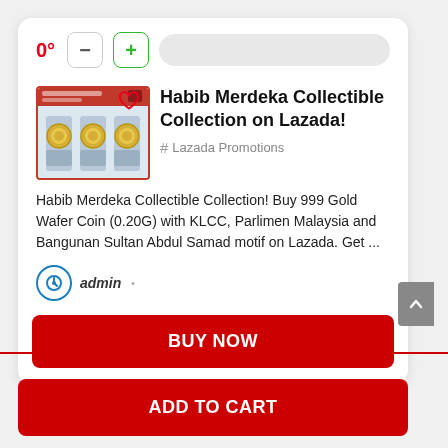[Figure (screenshot): Product listing card for Habib Merdeka Collectible Collection on Lazada, showing a product image with gold coins, a title, description, and buy now button]
Habib Merdeka Collectible Collection on Lazada!
# Lazada Promotions
Habib Merdeka Collectible Collection! Buy 999 Gold Wafer Coin (0.20G) with KLCC, Parlimen Malaysia and Bangunan Sultan Abdul Samad motif on Lazada. Get ...
admin
BUY NOW
ADD TO CART